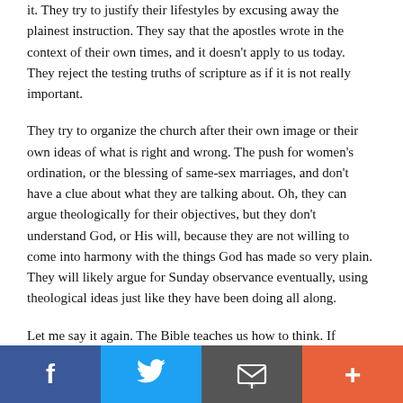it. They try to justify their lifestyles by excusing away the plainest instruction. They say that the apostles wrote in the context of their own times, and it doesn't apply to us today. They reject the testing truths of scripture as if it is not really important.
They try to organize the church after their own image or their own ideas of what is right and wrong. The push for women's ordination, or the blessing of same-sex marriages, and don't have a clue about what they are talking about. Oh, they can argue theologically for their objectives, but they don't understand God, or His will, because they are not willing to come into harmony with the things God has made so very plain. They will likely argue for Sunday observance eventually, using theological ideas just like they have been doing all along.
Let me say it again. The Bible teaches us how to think. If
Facebook | Twitter | Email | More